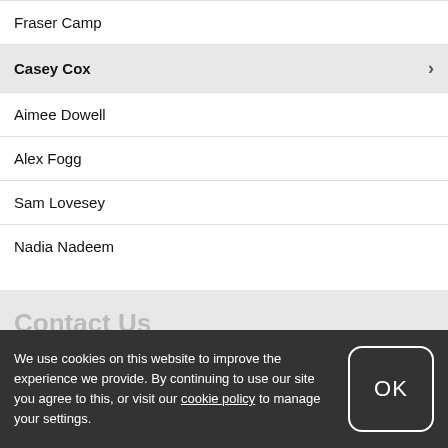Fraser Camp
Casey Cox
Aimee Dowell
Alex Fogg
Sam Lovesey
Nadia Nadeem
Contact Us
We use cookies on this website to improve the experience we provide. By continuing to use our site you agree to this, or visit our cookie policy to manage your settings.